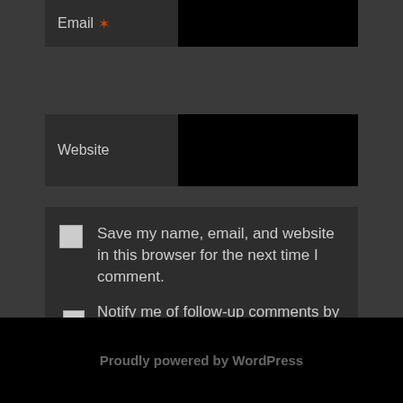Email *
Website
Save my name, email, and website in this browser for the next time I comment.
Notify me of follow-up comments by email.
Notify me of new posts by email.
Post Comment
Proudly powered by WordPress